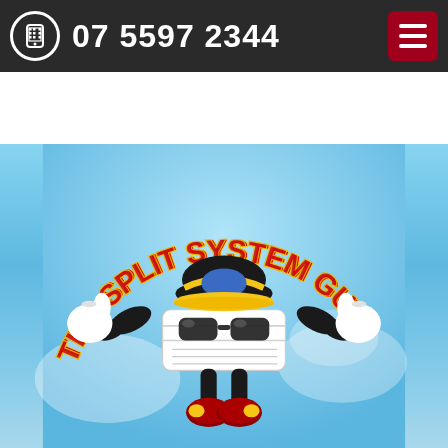07 5597 2344
[Figure (logo): The Split System Guy logo: a cartoon air conditioning unit mascot with sunglasses, yellow-billed cap, white gloves giving thumbs up, black arms and legs, red shoes with yellow accents, surrounded by arched red and gold text reading THE SPLIT SYSTEM GUY on a light blue background.]